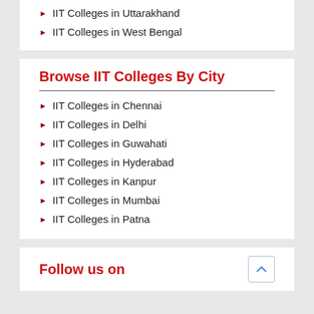IIT Colleges in Uttarakhand
IIT Colleges in West Bengal
Browse IIT Colleges By City
IIT Colleges in Chennai
IIT Colleges in Delhi
IIT Colleges in Guwahati
IIT Colleges in Hyderabad
IIT Colleges in Kanpur
IIT Colleges in Mumbai
IIT Colleges in Patna
Follow us on